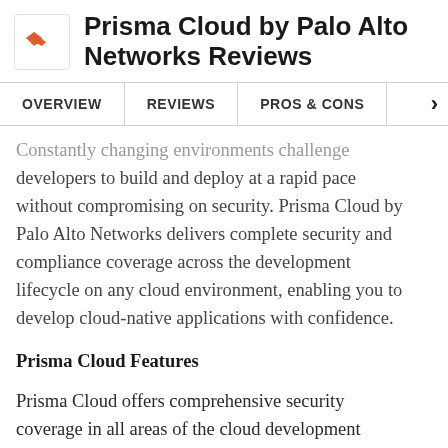Prisma Cloud by Palo Alto Networks Reviews
OVERVIEW | REVIEWS | PROS & CONS
Constantly changing environments challenge developers to build and deploy at a rapid pace without compromising on security. Prisma Cloud by Palo Alto Networks delivers complete security and compliance coverage across the development lifecycle on any cloud environment, enabling you to develop cloud-native applications with confidence.
Prisma Cloud Features
Prisma Cloud offers comprehensive security coverage in all areas of the cloud development lifecycle: